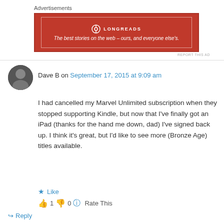Advertisements
[Figure (other): Red Longreads advertisement banner with white border. Logo text: LONGREADS. Tagline: The best stories on the web – ours, and everyone else's.]
REPORT THIS AD
Dave B on September 17, 2015 at 9:09 am
I had cancelled my Marvel Unlimited subscription when they stopped supporting Kindle, but now that I've finally got an iPad (thanks for the hand me down, dad) I've signed back up. I think it's great, but I'd like to see more (Bronze Age) titles available.
Like
👍 1 👎 0 ℹ Rate This
↳ Reply